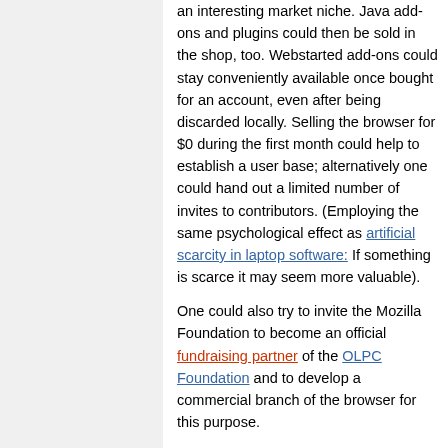an interesting market niche. Java add-ons and plugins could then be sold in the shop, too. Webstarted add-ons could stay conveniently available once bought for an account, even after being discarded locally. Selling the browser for $0 during the first month could help to establish a user base; alternatively one could hand out a limited number of invites to contributors. (Employing the same psychological effect as artificial scarcity in laptop software: If something is scarce it may seem more valuable).
One could also try to invite the Mozilla Foundation to become an official fundraising partner of the OLPC Foundation and to develop a commercial branch of the browser for this purpose.
Travel management solution